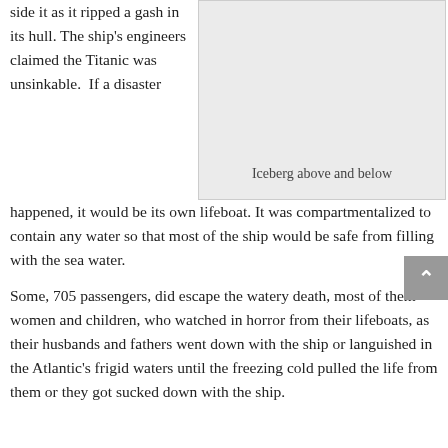side it as it ripped a gash in its hull. The ship's engineers claimed the Titanic was unsinkable.  If a disaster happened, it would be its own lifeboat. It was compartmentalized to contain any water so that most of the ship would be safe from filling with the sea water.
[Figure (photo): Light grey rectangular placeholder image for an iceberg illustration, with caption 'Iceberg above and below' displayed inside at the bottom center.]
Some, 705 passengers, did escape the watery death, most of them women and children, who watched in horror from their lifeboats, as their husbands and fathers went down with the ship or languished in the Atlantic's frigid waters until the freezing cold pulled the life from them or they got sucked down with the ship.